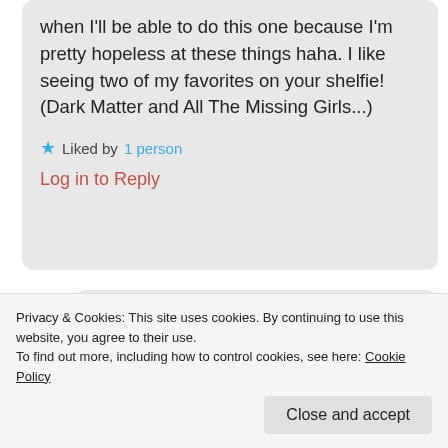when I'll be able to do this one because I'm pretty hopeless at these things haha. I like seeing two of my favorites on your shelfie! (Dark Matter and All The Missing Girls...)
★ Liked by 1 person
Log in to Reply
[Figure (illustration): Cartoon avatar of a person with glasses and red outfit waving]
pinkimagen @ The Secret...
Liked by 1 person
Privacy & Cookies: This site uses cookies. By continuing to use this website, you agree to their use. To find out more, including how to control cookies, see here: Cookie Policy
Close and accept